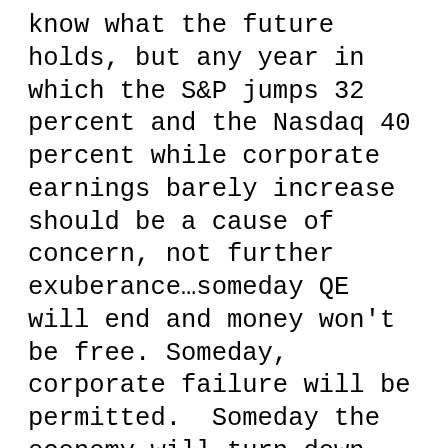know what the future holds, but any year in which the S&P jumps 32 percent and the Nasdaq 40 percent while corporate earnings barely increase should be a cause of concern, not further exuberance…someday QE will end and money won't be free. Someday, corporate failure will be permitted.  Someday the economy will turn down again, and someday, somewhere, somehow, investors will lose money and once again come to favor capital preservation over speculation…on almost any metric, the U.S. equity market is historically quite expensive.  A skeptic would have to be blind not to see bubbles inflating…there is a growing gap between the financial markets and